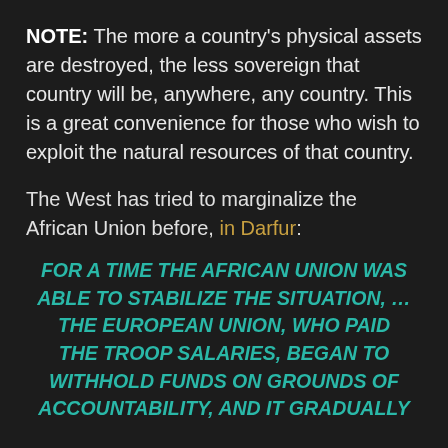NOTE: The more a country's physical assets are destroyed, the less sovereign that country will be, anywhere, any country. This is a great convenience for those who wish to exploit the natural resources of that country.
The West has tried to marginalize the African Union before, in Darfur:
FOR A TIME THE AFRICAN UNION WAS ABLE TO STABILIZE THE SITUATION, … THE EUROPEAN UNION, WHO PAID THE TROOP SALARIES, BEGAN TO WITHHOLD FUNDS ON GROUNDS OF ACCOUNTABILITY, AND IT GRADUALLY